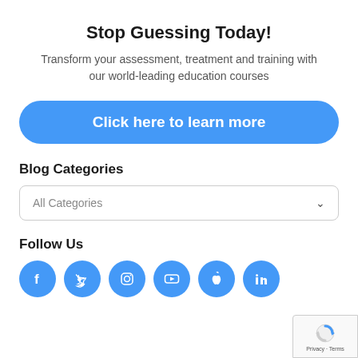Stop Guessing Today!
Transform your assessment, treatment and training with our world-leading education courses
Click here to learn more
Blog Categories
All Categories
Follow Us
[Figure (illustration): Six social media icons (Facebook, Twitter, Instagram, YouTube, Apple, LinkedIn) in blue circles]
[Figure (logo): reCAPTCHA badge with Privacy and Terms text]